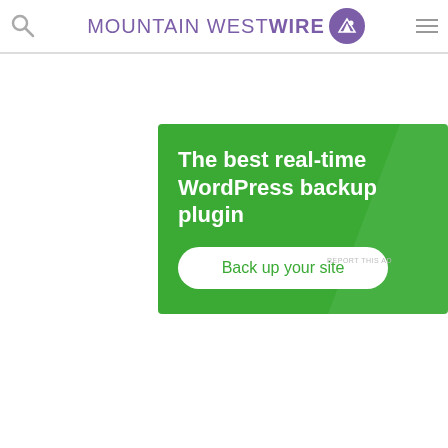MOUNTAIN WEST WIRE
[Figure (screenshot): Green advertisement banner for WordPress backup plugin: 'The best real-time WordPress backup plugin' with a 'Back up your site' button]
REPORT THIS AD